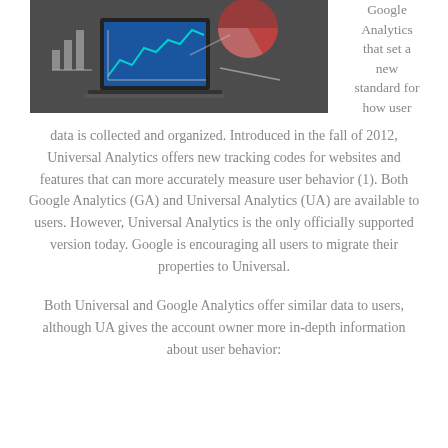[Figure (photo): A laptop computer on a dark chalkboard background with chart and graph illustrations drawn around it, including a pie chart, bar chart, and line graph]
Google Analytics that set a new standard for how user data is collected and organized. Introduced in the fall of 2012, Universal Analytics offers new tracking codes for websites and features that can more accurately measure user behavior (1). Both Google Analytics (GA) and Universal Analytics (UA) are available to users. However, Universal Analytics is the only officially supported version today. Google is encouraging all users to migrate their properties to Universal.
Both Universal and Google Analytics offer similar data to users, although UA gives the account owner more in-depth information about user behavior: